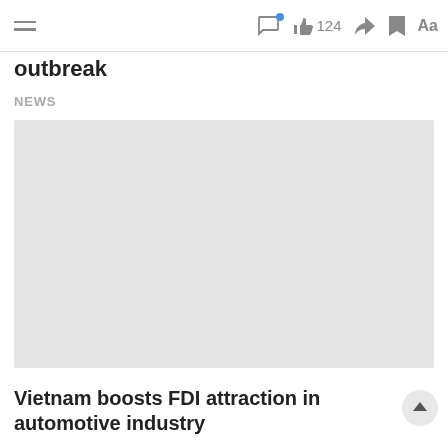outbreak | NEWS | [toolbar icons: chat, like 124, share, bookmark, Aa]
outbreak
NEWS
[Figure (photo): Light gray image placeholder rectangle]
Vietnam boosts FDI attraction in automotive industry